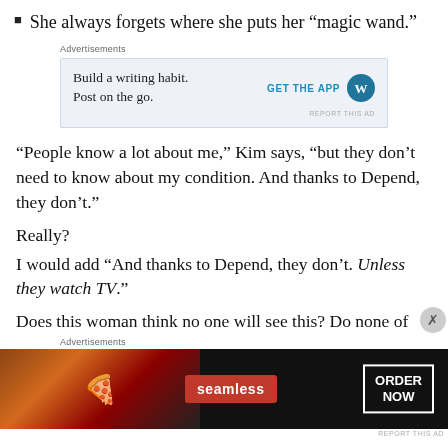She always forgets where she puts her “magic wand.”
[Figure (other): Advertisement for WordPress: 'Build a writing habit. Post on the go.' with GET THE APP button and WordPress logo]
“People know a lot about me,” Kim says, “but they don’t need to know about my condition. And thanks to Depend, they don’t.”
Really?
I would add “And thanks to Depend, they don’t. Unless they watch TV.”
Does this woman think no one will see this? Do none of
[Figure (other): Advertisement for Seamless food delivery showing pizza image, Seamless logo, and ORDER NOW button on dark background]